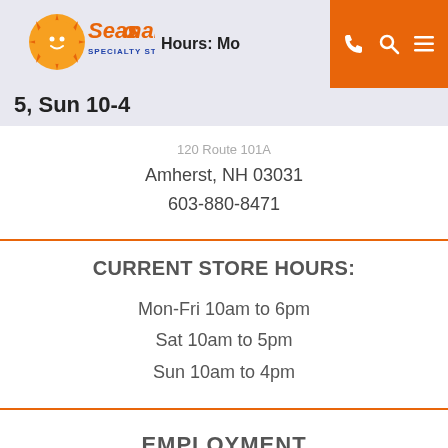Seasonal Specialty Stores — Hours: Mo... 5, Sun 10-4
120 Route 101A
Amherst, NH 03031
603-880-8471
CURRENT STORE HOURS:
Mon-Fri 10am to 6pm
Sat 10am to 5pm
Sun 10am to 4pm
EMPLOYMENT
Employment Opportunities